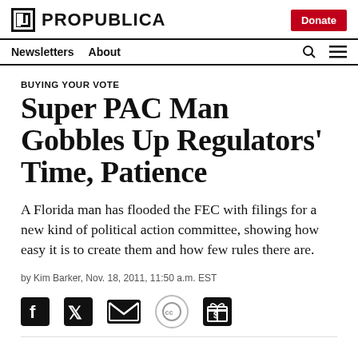ProPublica — Newsletters | About | Donate
BUYING YOUR VOTE
Super PAC Man Gobbles Up Regulators' Time, Patience
A Florida man has flooded the FEC with filings for a new kind of political action committee, showing how easy it is to create them and how few rules there are.
by Kim Barker, Nov. 18, 2011, 11:50 a.m. EST